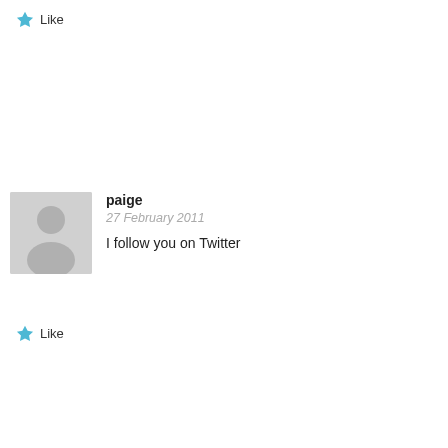Like
[Figure (illustration): User avatar placeholder silhouette on grey background]
paige
27 February 2011
I follow you on Twitter
Like